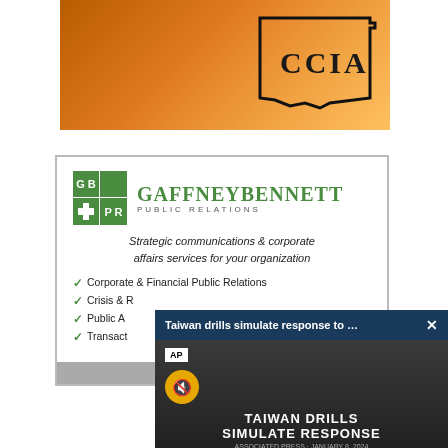[Figure (illustration): CCIA banner image showing a bridge/construction scene with orange tones and a state outline shape with 'CCIA' text]
[Figure (illustration): GaffneyBennett Public Relations advertisement with logo, tagline, and list of services]
[Figure (screenshot): AP video overlay popup: 'Taiwan drills simulate response to ...' with X close button, AP badge, mute button, and 'TAIWAN DRILLS SIMULATE RESPONSE' text on dark video background]